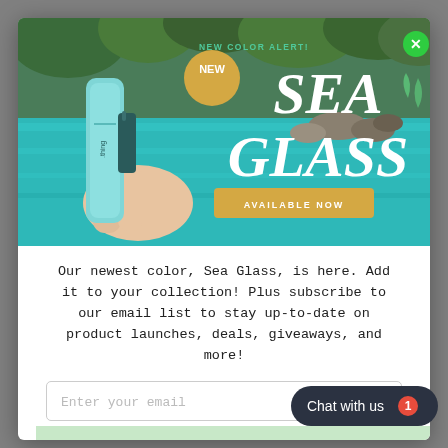[Figure (photo): Modal popup showing a hand holding a teal/sea glass colored product tube near a pool with rocks and greenery in background. Large white text reads SEA GLASS with NEW COLOR ALERT and AVAILABLE NOW button. Gold badge with NEW text.]
Our newest color, Sea Glass, is here. Add it to your collection! Plus subscribe to our email list to stay up-to-date on product launches, deals, giveaways, and more!
Buzz off.